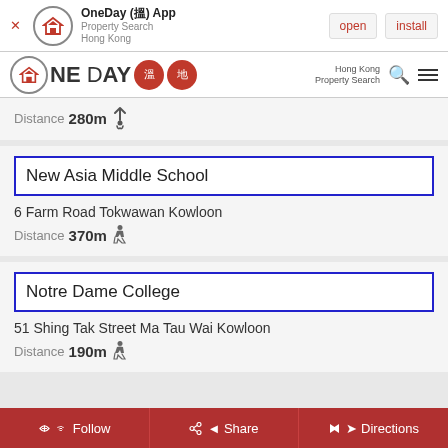[Figure (screenshot): OneDay app banner with logo, open and install buttons]
[Figure (logo): OneDay 搵地 App navigation bar with search and menu icons]
Distance 280m ↑
New Asia Middle School
6 Farm Road Tokwawan Kowloon
Distance 370m
Notre Dame College
51 Shing Tak Street Ma Tau Wai Kowloon
Distance 190m
Follow  Share  Directions